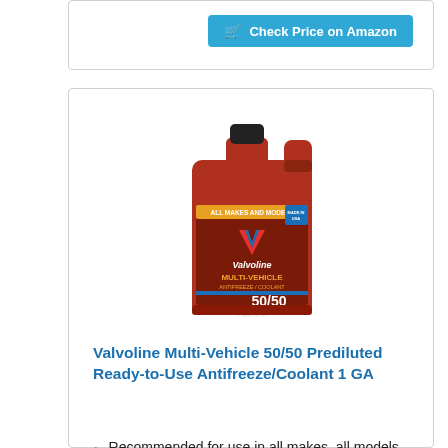[Figure (other): Amazon 'Check Price on Amazon' button card at top]
[Figure (photo): Valvoline Multi-Vehicle 50/50 Prediluted Ready-to-Use Antifreeze/Coolant 1 GA product jug — red plastic gallon container with Valvoline logo and label]
Valvoline Multi-Vehicle 50/50 Prediluted Ready-to-Use Antifreeze/Coolant 1 GA
Recommended for use in all makes, all models, all mileages and compatible with all colors
Only antifreeze to contain Alugard Plus, providing...